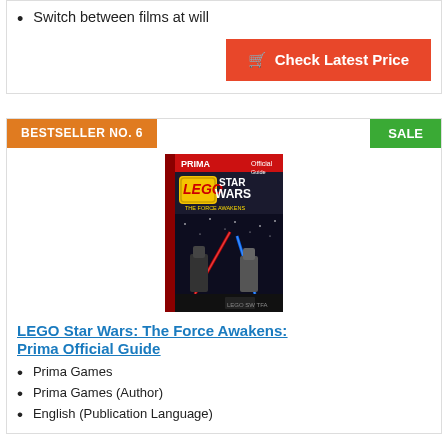Switch between films at will
[Figure (other): Check Latest Price button with shopping cart icon, red/orange background]
BESTSELLER NO. 6
SALE
[Figure (photo): Book cover: LEGO Star Wars The Force Awakens Prima Official Guide, showing LEGO characters with lightsabers and Star Wars imagery]
LEGO Star Wars: The Force Awakens: Prima Official Guide
Prima Games
Prima Games (Author)
English (Publication Language)